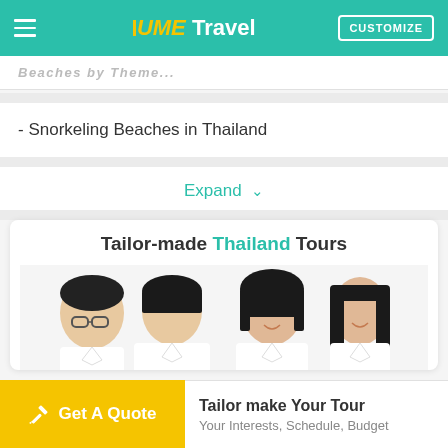UME Travel — CUSTOMIZE
Beaches by Theme...
- Snorkeling Beaches in Thailand
Expand
[Figure (photo): Tailor-made Thailand Tours — four young professionals in white shirts smiling]
Get A Quote — Tailor make Your Tour — Your Interests, Schedule, Budget